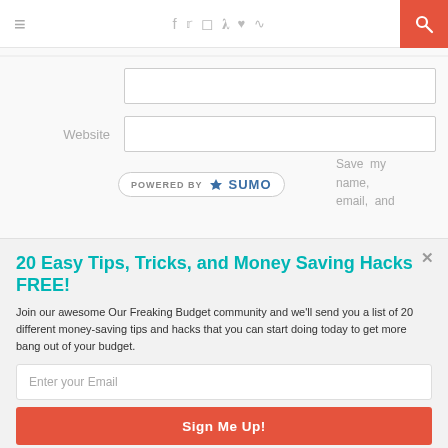≡  f  𝕏  📷  P  ♥  RSS  [search]
Website
[Figure (screenshot): Powered by SUMO badge with crown logo]
Save my name, email, and
20 Easy Tips, Tricks, and Money Saving Hacks FREE!
Join our awesome Our Freaking Budget community and we'll send you a list of 20 different money-saving tips and hacks that you can start doing today to get more bang out of your budget.
Enter your Email
Sign Me Up!